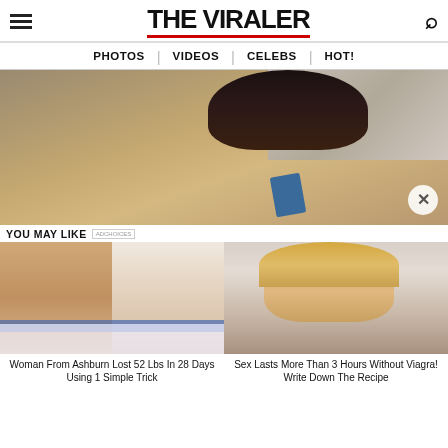THE VIRALER
PHOTOS | VIDEOS | CELEBS | HOT!
[Figure (photo): Woman leaning forward looking at camera in a bathroom/bedroom setting with a painting visible in background]
YOU MAY LIKE
[Figure (photo): Before and after weight loss photos of a woman in a blue and white dress]
Woman From Ashburn Lost 52 Lbs In 28 Days Using 1 Simple Trick
[Figure (photo): Blonde middle-aged woman smiling at camera]
Sex Lasts More Than 3 Hours Without Viagra! Write Down The Recipe